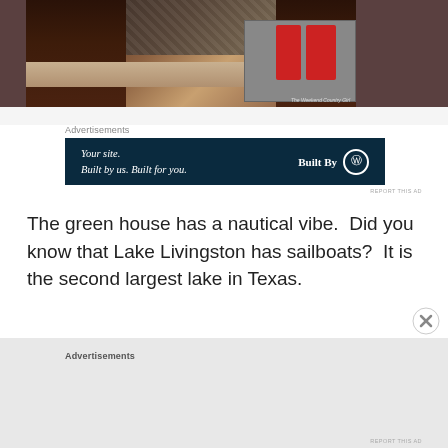[Figure (photo): Kitchen interior with dark wood cabinets, granite countertop, stainless steel appliances including oven with red towels, and mosaic tile backsplash. Watermark reads 'The Weekend Country Girl']
Advertisements
[Figure (other): Advertisement banner with dark navy background. Left side: 'Your site. Built by us. Built for you.' Right side: 'Built By' with WordPress logo circle.]
REPORT THIS AD
The green house has a nautical vibe.  Did you know that Lake Livingston has sailboats?  It is the second largest lake in Texas.
Advertisements
REPORT THIS AD